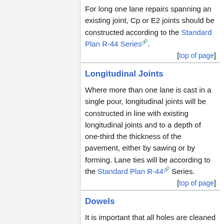For long one lane repairs spanning an existing joint, Cp or E2 joints should be constructed according to the Standard Plan R-44 Series.
[top of page]
Longitudinal Joints
Where more than one lane is cast in a single pour, longitudinal joints will be constructed in line with existing longitudinal joints and to a depth of one-third the thickness of the pavement, either by sawing or by forming. Lane ties will be according to the Standard Plan R-44 Series.
[top of page]
Dowels
It is important that all holes are cleaned